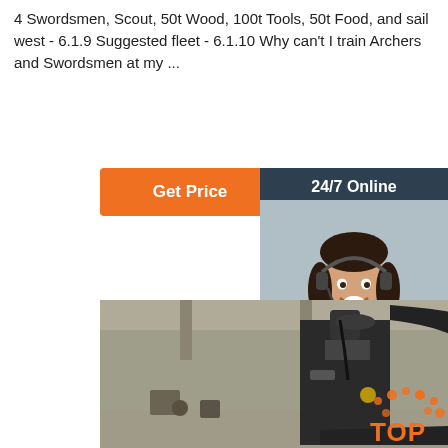4 Swordsmen, Scout, 50t Wood, 100t Tools, 50t Food, and sail west - 6.1.9 Suggested fleet - 6.1.10 Why can't I train Archers and Swordsmen at my ...
[Figure (other): Orange 'Get Price' button]
[Figure (other): Sidebar with '24/7 Online' header, photo of customer service woman with headset, 'Click here for free chat!' text, and orange 'QUOTATION' button]
[Figure (photo): Industrial machinery (large mechanical press or similar) in a factory/warehouse setting]
[Figure (logo): TOP badge with orange dots in bottom right corner]